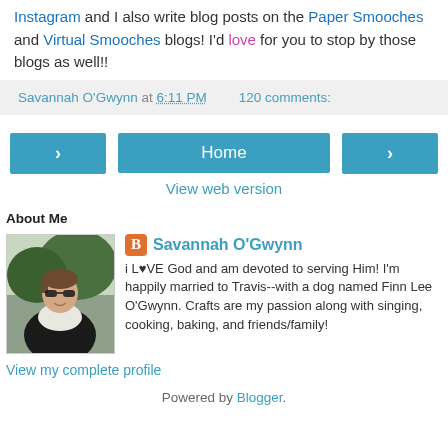Instagram and I also write blog posts on the Paper Smooches and Virtual Smooches blogs! I'd love for you to stop by those blogs as well!!
Savannah O'Gwynn at 6:11 PM    120 comments:
[Figure (screenshot): Navigation buttons: left arrow, Home, right arrow]
View web version
About Me
[Figure (photo): Profile photo of Savannah O'Gwynn, a woman wearing sunglasses and a white scarf outdoors]
Savannah O'Gwynn — i L♥VE God and am devoted to serving Him! I'm happily married to Travis--with a dog named Finn Lee O'Gwynn. Crafts are my passion along with singing, cooking, baking, and friends/family!
View my complete profile
Powered by Blogger.